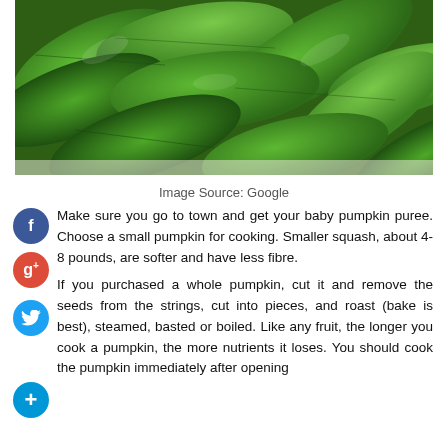[Figure (photo): Close-up photo of fresh green leafy vegetables (pumpkin leaves), glossy and dark green in color.]
Image Source: Google
Make sure you go to town and get your baby pumpkin puree. Choose a small pumpkin for cooking. Smaller squash, about 4-8 pounds, are softer and have less fibre.
If you purchased a whole pumpkin, cut it and remove the seeds from the strings, cut into pieces, and roast (bake is best), steamed, basted or boiled. Like any fruit, the longer you cook a pumpkin, the more nutrients it loses. You should cook the pumpkin immediately after opening